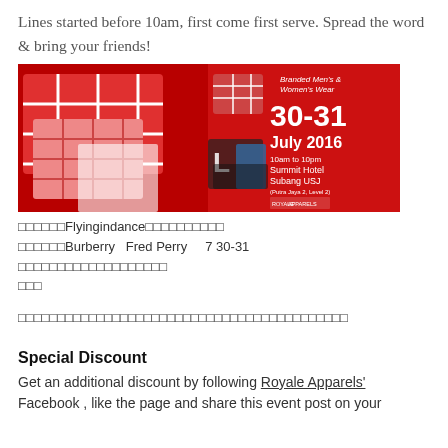Lines started before 10am, first come first serve. Spread the word & bring your friends!
[Figure (photo): Promotional banner for Royale Apparels sale event: Branded Men's & Women's Wear, 30-31 July 2016, 10am to 10pm, Summit Hotel Subang USJ. Red background with plaid shirts on left, clothing items spelling LOVE on right.]
□□□□□□Flyingindance□□□□□□□□□□
□□□□□□Burberry   Fred Perry     7 30-31              □□□□□□□□□□□□□□□□□□□
□□□□□□□□□□□□□□□□□□□□□□□□□□□□□□□□□□□□□□□□□□
Special Discount
Get an additional discount by following Royale Apparels' Facebook , like the page and share this event post on your